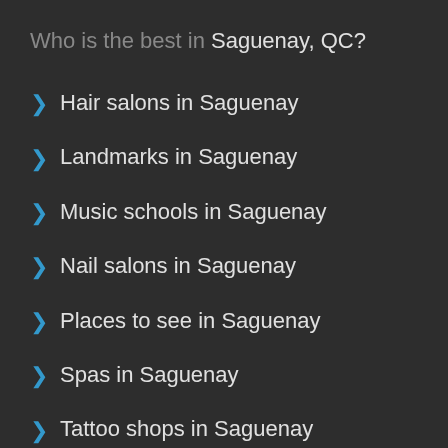Who is the best in Saguenay, QC?
Hair salons in Saguenay
Landmarks in Saguenay
Music schools in Saguenay
Nail salons in Saguenay
Places to see in Saguenay
Spas in Saguenay
Tattoo shops in Saguenay